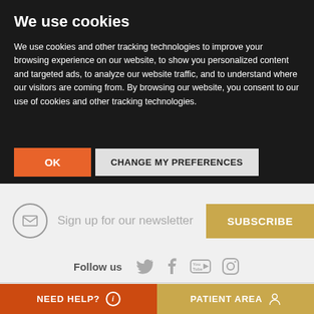We use cookies
We use cookies and other tracking technologies to improve your browsing experience on our website, to show you personalized content and targeted ads, to analyze our website traffic, and to understand where our visitors are coming from. By browsing our website, you consent to our use of cookies and other tracking technologies.
OK | CHANGE MY PREFERENCES
[Figure (screenshot): Newsletter signup row with envelope icon, text 'Sign up for our newsletter', and a gold SUBSCRIBE button]
Follow us
[Figure (infographic): Social media icons: Twitter, Facebook, YouTube, Instagram]
NEED HELP?
PATIENT AREA